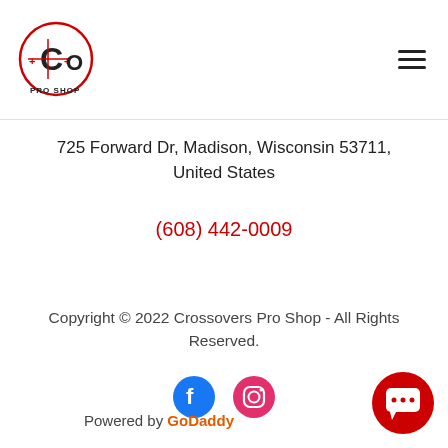[Figure (logo): Crossovers Pro Shop circular logo with red C crosshair icon and text]
[Figure (other): Hamburger menu icon (three horizontal lines) in top right]
725 Forward Dr, Madison, Wisconsin 53711, United States
(608) 442-0009
Copyright © 2022 Crossovers Pro Shop - All Rights Reserved.
[Figure (other): Facebook and Instagram social media icons]
Powered by GoDaddy
[Figure (other): Red circular chat button in bottom right corner]